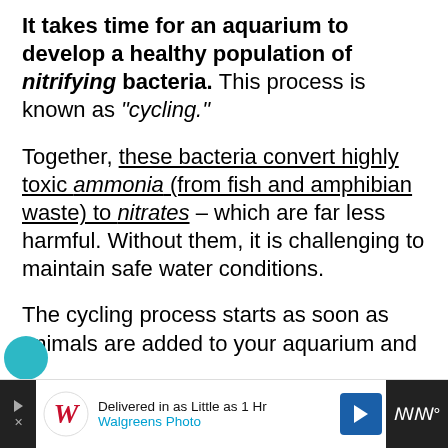It takes time for an aquarium to develop a healthy population of nitrifying bacteria. This process is known as "cycling."
Together, these bacteria convert highly toxic ammonia (from fish and amphibian waste) to nitrates – which are far less harmful. Without them, it is challenging to maintain safe water conditions.
The cycling process starts as soon as animals are added to your aquarium and...
[Figure (other): Advertisement bar at the bottom: Walgreens Photo ad reading 'Delivered in as Little as 1 Hr' and 'Walgreens Photo', with navigation arrow icon and W logo]